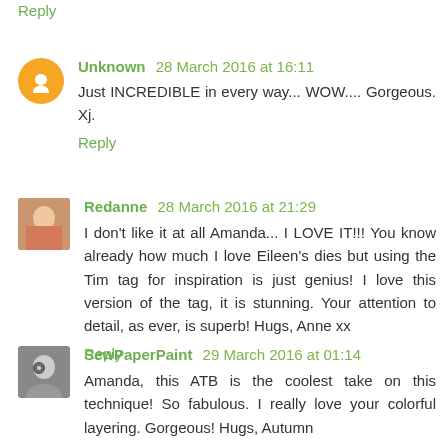Reply
Unknown 28 March 2016 at 16:11
Just INCREDIBLE in every way... WOW.... Gorgeous. Xj.
Reply
Redanne 28 March 2016 at 21:29
I don't like it at all Amanda... I LOVE IT!!! You know already how much I love Eileen's dies but using the Tim tag for inspiration is just genius! I love this version of the tag, it is stunning. Your attention to detail, as ever, is superb! Hugs, Anne xx
Reply
SewPaperPaint 29 March 2016 at 01:14
Amanda, this ATB is the coolest take on this technique! So fabulous. I really love your colorful layering. Gorgeous! Hugs, Autumn